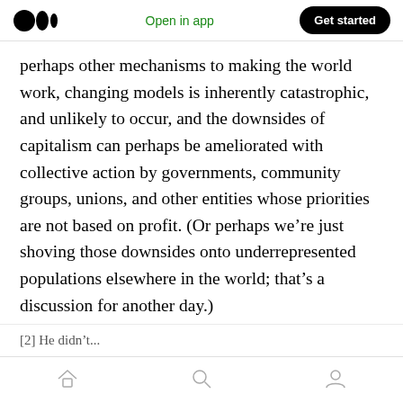Medium app header — Open in app | Get started
perhaps other mechanisms to making the world work, changing models is inherently catastrophic, and unlikely to occur, and the downsides of capitalism can perhaps be ameliorated with collective action by governments, community groups, unions, and other entities whose priorities are not based on profit. (Or perhaps we're just shoving those downsides onto underrepresented populations elsewhere in the world; that's a discussion for another day.)
[2] He didn't...
Home | Search | Profile